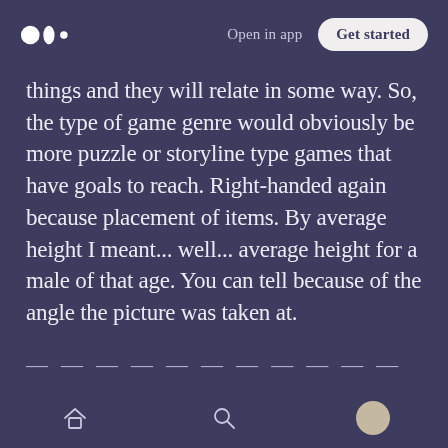Open in app | Get started
things and they will relate in some way. So, the type of game genre would obviously be more puzzle or storyline type games that have goals to reach. Right-handed again because placement of items. By average height I meant... well... average height for a male of that age. You can tell because of the angle the picture was taken at.
— — — — — — — — — — — — — — — — — — — — — — — — — — — — —
I definitely could've gone deeper on analysis of this last